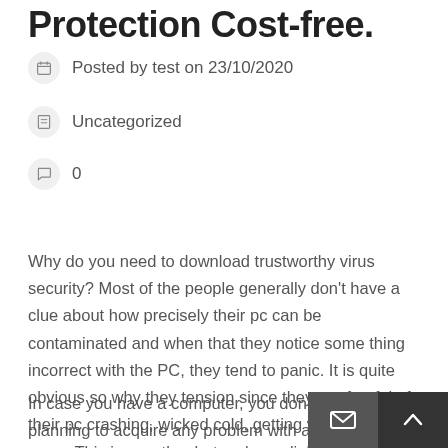Protection Cost-free.
Posted by test on 23/10/2020
Uncategorized
0
Why do you need to download trustworthy virus security? Most of the people generally don't have a clue about how precisely their pc can be contaminated and when that they notice some thing incorrect with the PC, they tend to panic. It is quite obvious so why they tension since they are fearful of their pc crashing, wicked cold, getting viruses and more. This is exactly what makes reliable ant-virus and fire wall programs very useful because they will help to take care of the performance of your computer.
In case you have a computer, you don't know if you're planning to acquire any problem with all the it. Some viruses attack PC's during its operation, while some are